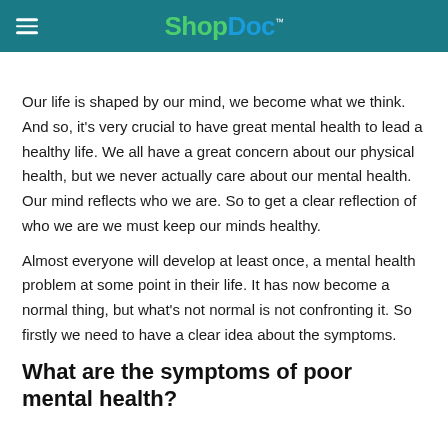ShopDoc
Our life is shaped by our mind, we become what we think. And so, it's very crucial to have great mental health to lead a healthy life. We all have a great concern about our physical health, but we never actually care about our mental health. Our mind reflects who we are. So to get a clear reflection of who we are we must keep our minds healthy.
Almost everyone will develop at least once, a mental health problem at some point in their life. It has now become a normal thing, but what's not normal is not confronting it. So firstly we need to have a clear idea about the symptoms.
What are the symptoms of poor mental health?